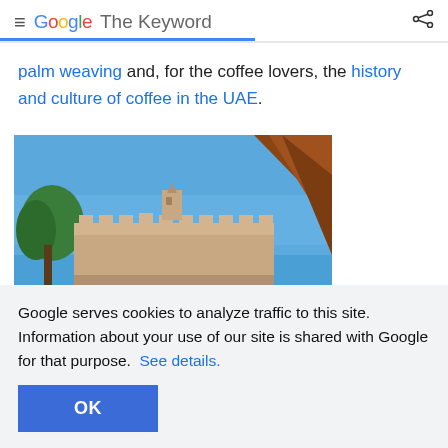Google The Keyword
palm weaving and, for the coffee lovers, the history and culture of coffee in the UAE.
[Figure (photo): Photo of a Middle Eastern fort/historic building with sandy walls and battlements under a clear blue sky, with green trees on the left and a large wooden boat prow on the right.]
Google serves cookies to analyze traffic to this site. Information about your use of our site is shared with Google for that purpose. See details.